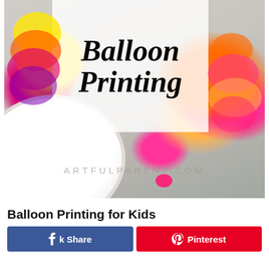[Figure (photo): Hero photo showing balloon printing art — colorful circles of yellow, orange, pink, magenta stamped on white paper/plate background. Over the image is a semi-transparent white card with the bold cursive/handwritten text 'Balloon Printing'. At the bottom of the image is the watermark text 'ARTFULPARENT.COM'.]
Balloon Printing for Kids